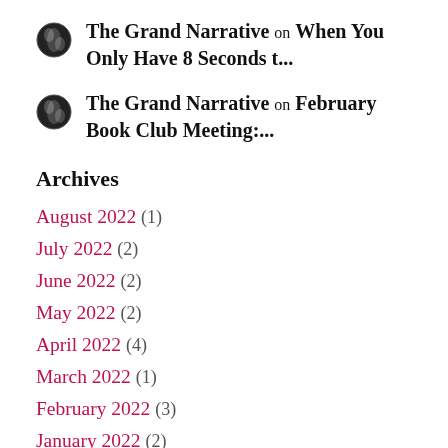The Grand Narrative on When You Only Have 8 Seconds t...
The Grand Narrative on February Book Club Meeting:...
Archives
August 2022 (1)
July 2022 (2)
June 2022 (2)
May 2022 (2)
April 2022 (4)
March 2022 (1)
February 2022 (3)
January 2022 (2)